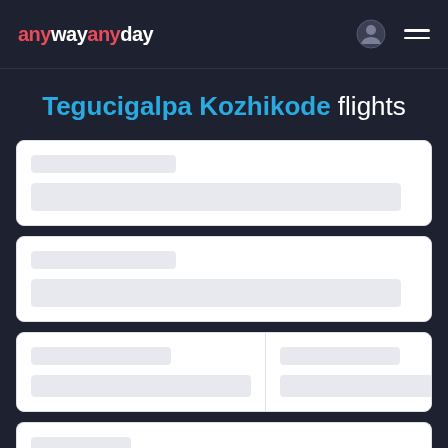anywayanyday
Tegucigalpa Kozhikode flights
[Figure (screenshot): Loading skeleton card 1 with two grey placeholder bars]
[Figure (screenshot): Loading skeleton card 2 with two grey placeholder bars]
[Figure (screenshot): Loading skeleton card 3 split into two columns, each with two grey placeholder bars]
[Figure (screenshot): Partial loading skeleton card 4 with one grey placeholder bar, cut off at bottom]